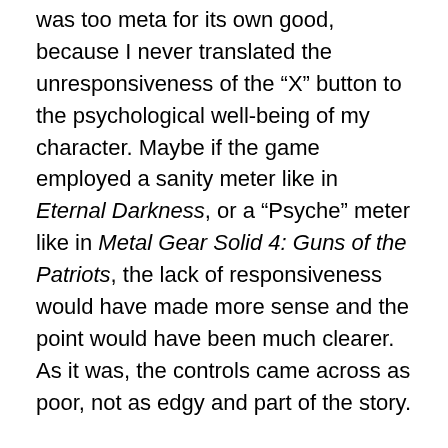was too meta for its own good, because I never translated the unresponsiveness of the “X” button to the psychological well-being of my character. Maybe if the game employed a sanity meter like in Eternal Darkness, or a “Psyche” meter like in Metal Gear Solid 4: Guns of the Patriots, the lack of responsiveness would have made more sense and the point would have been much clearer. As it was, the controls came across as poor, not as edgy and part of the story.
Do you feel like a hero yet?: I think the point the game was trying to make would have been more powerful if Walker had shown more overt signs of his hallucinations/PTSD earlier on and the player had been getting dragged along for the ride (like his companions were). Perhaps we could have overheard some of his companions’ disbelieving